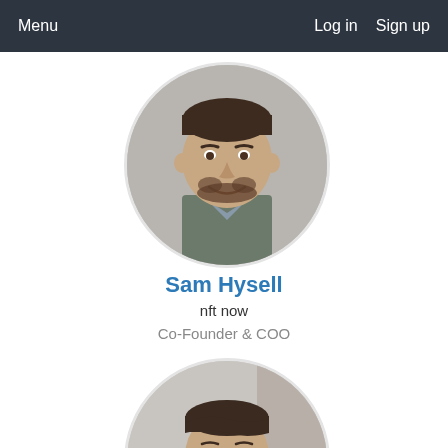Menu    Log in  Sign up
[Figure (photo): Circular profile photo of Sam Hysell, a smiling man with dark hair and beard wearing a dark olive jacket over a light shirt, photographed against a light gray background.]
Sam Hysell
nft now
Co-Founder & COO
[Figure (photo): Circular profile photo (partially visible/cropped) of a second person, a man in a suit with dark hair, smiling, photographed against a light background.]